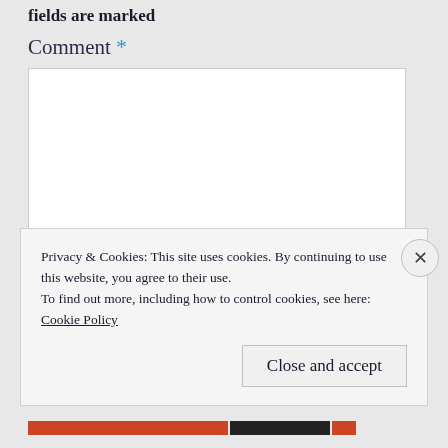fields are marked
Comment *
Privacy & Cookies: This site uses cookies. By continuing to use this website, you agree to their use.
To find out more, including how to control cookies, see here: Cookie Policy
Close and accept